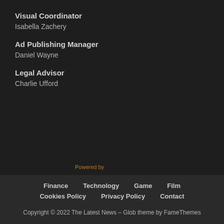Visual Coordinator
Isabella Zachery
Ad Publishing Manager
Daniel Wayne
Legal Advisor
Charlie Ufford
Powered by
Finance   Technology   Game   Film
Cookies Policy   Privacy Policy   Contact
Copyright © 2022 The Latest News – Glob theme by FameThemes